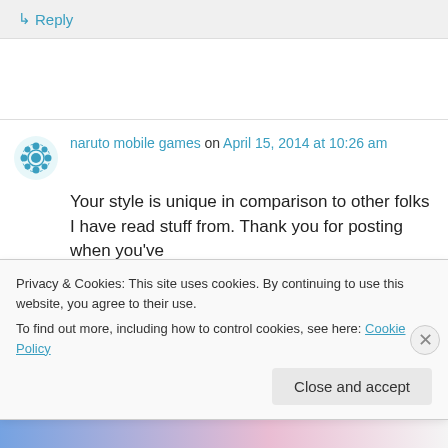↳ Reply
naruto mobile games on April 15, 2014 at 10:26 am
Your style is unique in comparison to other folks I have read stuff from. Thank you for posting when you've
got the opportunity, Guess I will just book mark
Privacy & Cookies: This site uses cookies. By continuing to use this website, you agree to their use.
To find out more, including how to control cookies, see here: Cookie Policy
Close and accept